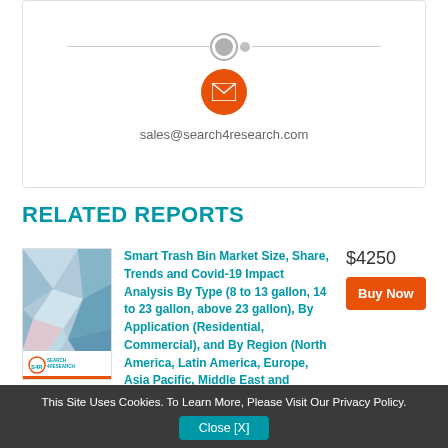[Figure (logo): Contact card with horizontal divider, gray dot icon, orange email envelope icon, and email address sales@search4research.com]
sales@search4research.com
RELATED REPORTS
[Figure (illustration): Book/report cover thumbnail with geometric polygon design in blue, teal, pink, and white; Search4Research logo at bottom]
Smart Trash Bin Market Size, Share, Trends and Covid-19 Impact Analysis By Type (8 to 13 gallon, 14 to 23 gallon, above 23 gallon), By Application (Residential, Commercial), and By Region (North America, Latin America, Europe, Asia Pacific, Middle East and
$4250
Buy Now
This Site Uses Cookies. To Learn More, Please Visit Our Privacy Policy.
Close [X]